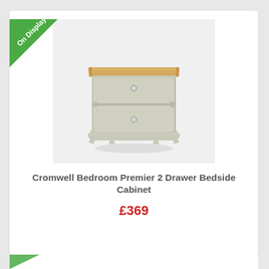[Figure (photo): A cream/off-white painted 2-drawer bedside cabinet with a natural oak top. The cabinet has two drawers each with a small round knob handle. The piece has curved decorative feet and sits on a light gray background. A green 'On Display' diagonal ribbon badge is shown in the top-left corner of the product card.]
Cromwell Bedroom Premier 2 Drawer Bedside Cabinet
£369